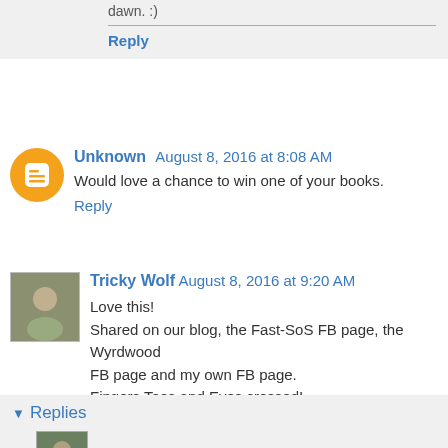dawn. :)
Reply
Unknown August 8, 2016 at 8:08 AM
Would love a chance to win one of your books.
Reply
Tricky Wolf August 8, 2016 at 9:20 AM
Love this! Shared on our blog, the Fast-SoS FB page, the Wyrdwood FB page and my own FB page. Fingers Toes and Eyes crossed!
Reply
Replies
Leigh August 9, 2016 at 5:34 AM